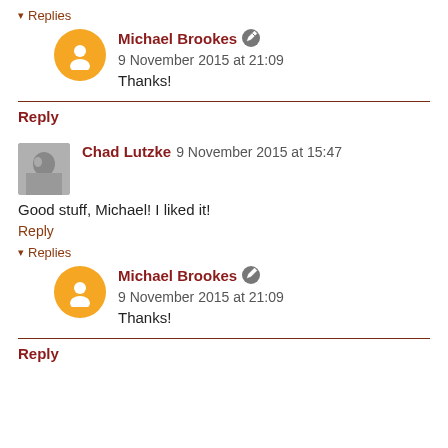▾ Replies
Michael Brookes 🖊 9 November 2015 at 21:09
Thanks!
Reply
Chad Lutzke  9 November 2015 at 15:47
Good stuff, Michael! I liked it!
Reply
▾ Replies
Michael Brookes 🖊 9 November 2015 at 21:09
Thanks!
Reply